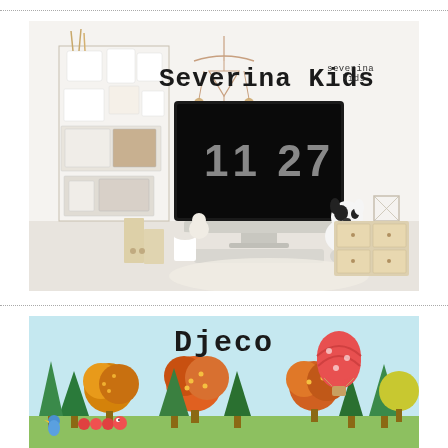[Figure (photo): Severina Kids branded image showing a styled desk with iMac displaying 11:27, modular wall organizers with white containers and wooden items, a stuffed dog toy, wooden drawer unit, and decorative mobile hanging. Text 'Severina Kids' overlaid in top center, small 'severina kids' logo in top right.]
[Figure (illustration): Djeco branded illustration showing a colorful autumn forest scene with cartoon trees in orange, red, green and yellow, a hot air balloon, and small animal characters on a light blue background. 'Djeco' text overlaid in top center.]